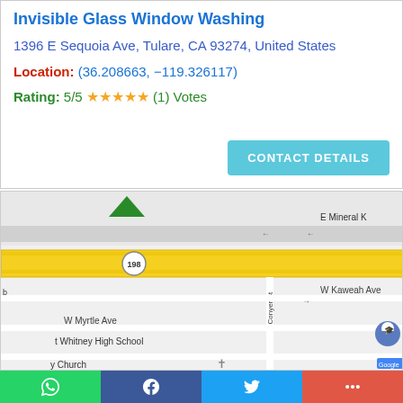Invisible Glass Window Washing
1396 E Sequoia Ave, Tulare, CA 93274, United States
Location: (36.208663, −119.326117)
Rating: 5/5 ★★★★★ (1) Votes
[Figure (map): Google Maps screenshot showing area around 1396 E Sequoia Ave, Tulare, CA. Shows highway 198 (yellow band), route 63, E Mineral K street, W Kaweah Ave, W Myrtle Ave, S Conyer St, S Court St, S Church St, S Garden St, Jefferson Park (green), Mt Whitney High School, and a location pin marker.]
WhatsApp | Facebook | Twitter | More